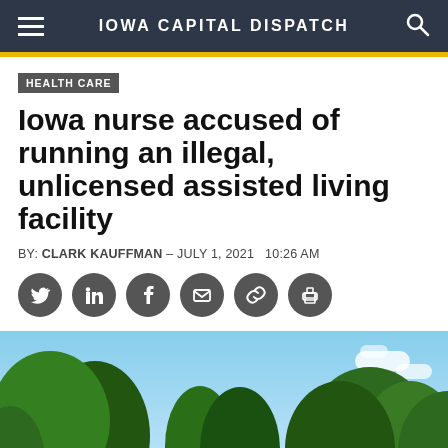IOWA CAPITAL DISPATCH
HEALTH CARE
Iowa nurse accused of running an illegal, unlicensed assisted living facility
BY: CLARK KAUFFMAN – JULY 1, 2021  10:26 AM
[Figure (other): Social media share icons: Twitter, LinkedIn, Facebook, Email, Link, Print]
[Figure (photo): Outdoor photo showing green trees against a blue sky, with part of a building or structure visible below the trees]